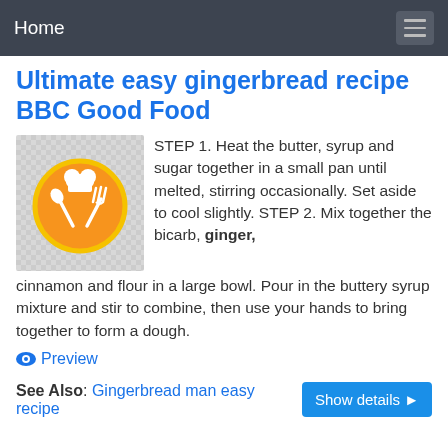Home
Ultimate easy gingerbread recipe BBC Good Food
[Figure (logo): Orange circular cooking logo with white chef hat, spoon and fork icons crossed]
STEP 1. Heat the butter, syrup and sugar together in a small pan until melted, stirring occasionally. Set aside to cool slightly. STEP 2. Mix together the bicarb, ginger, cinnamon and flour in a large bowl. Pour in the buttery syrup mixture and stir to combine, then use your hands to bring together to form a dough.
Preview
See Also: Gingerbread man easy recipe